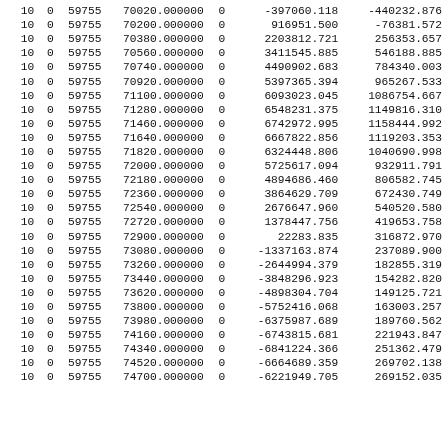| 10 | 0 | 59755 | 70020.000000 | 0 | -397060.118 | -440232.876 |
| 10 | 0 | 59755 | 70200.000000 | 0 | 916951.500 | -76381.572 |
| 10 | 0 | 59755 | 70380.000000 | 0 | 2203812.721 | 256353.657 |
| 10 | 0 | 59755 | 70560.000000 | 0 | 3411545.885 | 546188.885 |
| 10 | 0 | 59755 | 70740.000000 | 0 | 4490902.683 | 784340.003 |
| 10 | 0 | 59755 | 70920.000000 | 0 | 5397365.394 | 965267.533 |
| 10 | 0 | 59755 | 71100.000000 | 0 | 6093023.045 | 1086754.667 |
| 10 | 0 | 59755 | 71280.000000 | 0 | 6548231.375 | 1149816.310 |
| 10 | 0 | 59755 | 71460.000000 | 0 | 6742972.995 | 1158444.992 |
| 10 | 0 | 59755 | 71640.000000 | 0 | 6667822.856 | 1119203.353 |
| 10 | 0 | 59755 | 71820.000000 | 0 | 6324448.806 | 1040690.998 |
| 10 | 0 | 59755 | 72000.000000 | 0 | 5725617.094 | 932911.791 |
| 10 | 0 | 59755 | 72180.000000 | 0 | 4894686.460 | 806582.745 |
| 10 | 0 | 59755 | 72360.000000 | 0 | 3864629.709 | 672430.749 |
| 10 | 0 | 59755 | 72540.000000 | 0 | 2676647.960 | 540520.580 |
| 10 | 0 | 59755 | 72720.000000 | 0 | 1378447.756 | 419653.758 |
| 10 | 0 | 59755 | 72900.000000 | 0 | 22283.835 | 316872.970 |
| 10 | 0 | 59755 | 73080.000000 | 0 | -1337163.874 | 237089.900 |
| 10 | 0 | 59755 | 73260.000000 | 0 | -2644994.379 | 182855.319 |
| 10 | 0 | 59755 | 73440.000000 | 0 | -3848296.923 | 154282.820 |
| 10 | 0 | 59755 | 73620.000000 | 0 | -4898304.704 | 149125.721 |
| 10 | 0 | 59755 | 73800.000000 | 0 | -5752416.068 | 163003.257 |
| 10 | 0 | 59755 | 73980.000000 | 0 | -6375987.689 | 189760.562 |
| 10 | 0 | 59755 | 74160.000000 | 0 | -6743815.681 | 221943.847 |
| 10 | 0 | 59755 | 74340.000000 | 0 | -6841224.366 | 251362.479 |
| 10 | 0 | 59755 | 74520.000000 | 0 | -6664689.359 | 269702.138 |
| 10 | 0 | 59755 | 74700.000000 | 0 | -6221949.705 | 269152.035 |